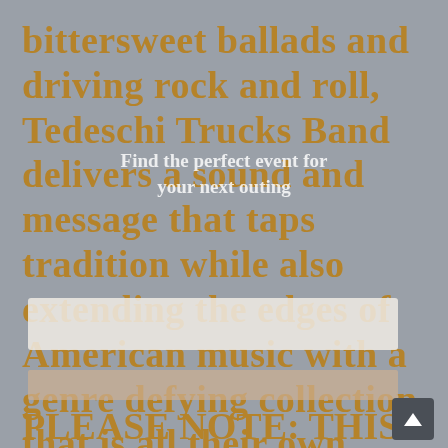bittersweet ballads and driving rock and roll, Tedeschi Trucks Band delivers a sound and message that taps tradition while also extending the edges of American music with a genre defying collection that is all their own.
PLEASE NOTE: THIS